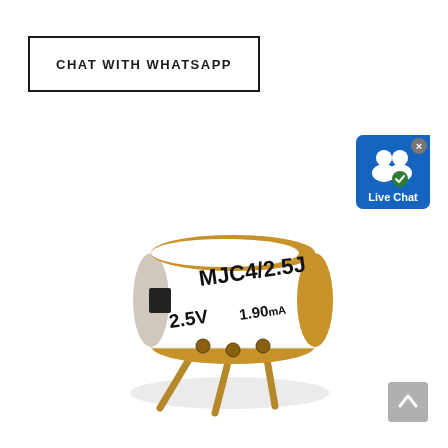CHAT WITH WHATSAPP
[Figure (photo): Electronic component photo: MJC4/2.5J voltage reference / zener diode-like component, cylindrical with white body and gold-colored metal rim, with 3 gold-plated through-hole leads. Label reads: MJC4/2.5J 2.5V 1.90mA]
[Figure (other): Live Chat button icon with blue background, showing two white person silhouettes and a checkmark badge]
[Figure (other): Scroll to top button - gray square with upward arrow]